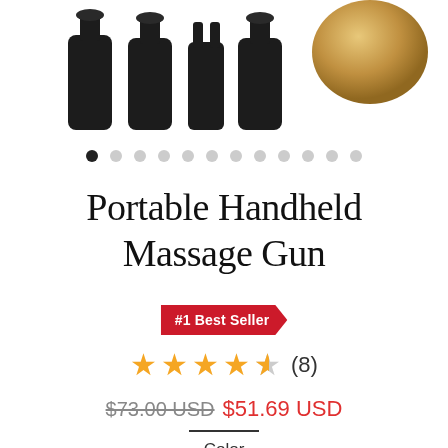[Figure (photo): Product image showing multiple black massage gun attachment heads on the left and a gold/champagne colored massage gun device on the upper right, cropped at the top]
● ○ ○ ○ ○ ○ ○ ○ ○ ○ ○ ○ (image carousel dots, first dot active)
Portable Handheld Massage Gun
#1 Best Seller
★★★★½ (8)
$73.00 USD  $51.69 USD
Color